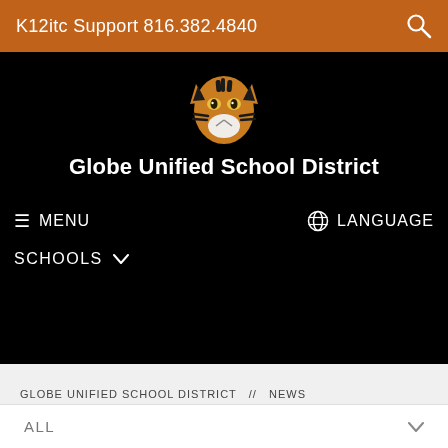K12itc Support 816.382.4840
[Figure (logo): Tiger mascot head logo for Globe Unified School District]
Globe Unified School District
≡  MENU
🌐  LANGUAGE
SCHOOLS  ∨
GLOBE UNIFIED SCHOOL DISTRICT  //  NEWS
ALL